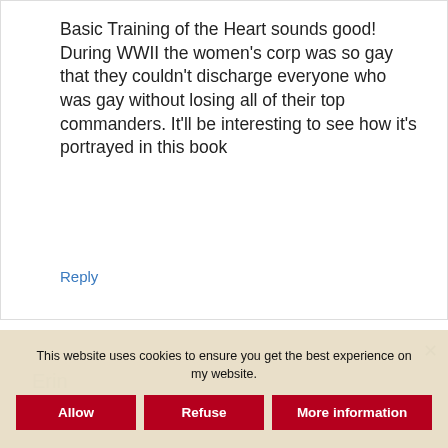Basic Training of the Heart sounds good! During WWII the women's corp was so gay that they couldn't discharge everyone who was gay without losing all of their top commanders. It'll be interesting to see how it's portrayed in this book
Reply
Erin
Janu 20 2
This website uses cookies to ensure you get the best experience on my website.
Allow | Refuse | More information